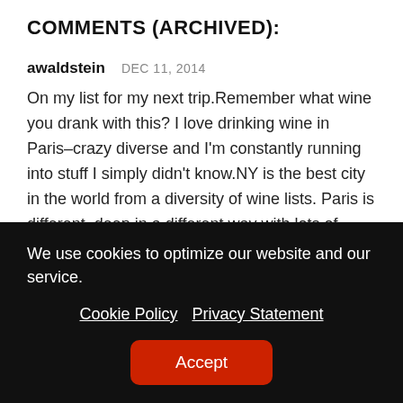COMMENTS (ARCHIVED):
awaldstein   DEC 11, 2014
On my list for my next trip.Remember what wine you drank with this? I love drinking wine in Paris–crazy diverse and I'm constantly running into stuff I simply didn't know.NY is the best city in the world from a diversity of wine lists. Paris is different, deep in a different way with lots of natural wine.
We use cookies to optimize our website and our service.
Cookie Policy   Privacy Statement
Accept